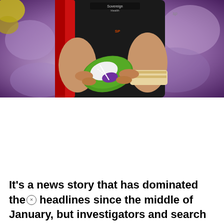[Figure (photo): A rugby player in a black and red jersey holding a green and white rugby ball. The player's torso and arms are visible, wearing a taped wrist. Background is blurred with purple tones suggesting a stadium crowd.]
It's a news story that has dominated the headlines since the middle of January, but investigators and search parties are still no